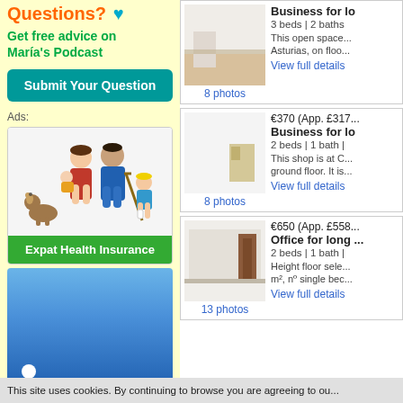Questions?
Get free advice on María's Podcast
Submit Your Question
Ads:
[Figure (illustration): Family illustration with parents, children, and a dog for Expat Health Insurance ad]
Expat Health Insurance
[Figure (illustration): Blue gradient advertisement banner with white dot]
Business for lo... 3 beds | 2 baths. This open space... Asturias, on floo... 8 photos. View full details
€370 (App. £317... Business for lo... 2 beds | 1 bath | This shop is at C... ground floor. It is... 8 photos. View full details
€650 (App. £558... Office for long... 2 beds | 1 bath | Height floor sele... m², nº single bec... 13 photos. View full details
This site uses cookies. By continuing to browse you are agreeing to ou...